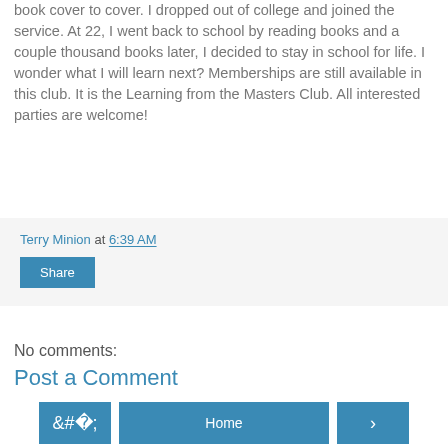book cover to cover. I dropped out of college and joined the service. At 22, I went back to school by reading books and a couple thousand books later, I decided to stay in school for life. I wonder what I will learn next? Memberships are still available in this club. It is the Learning from the Masters Club. All interested parties are welcome!
Terry Minion at 6:39 AM
Share
No comments:
Post a Comment
‹
Home
›
View web version
Powered by Blogger.